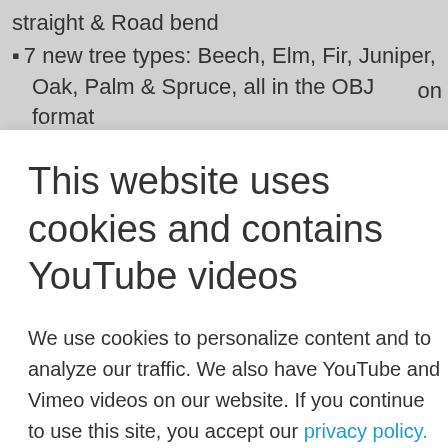straight & Road bend
7 new tree types: Beech, Elm, Fir, Juniper, Oak, Palm & Spruce, all in the OBJ format
This website uses cookies and contains YouTube videos
We use cookies to personalize content and to analyze our traffic. We also have YouTube and Vimeo videos on our website. If you continue to use this site, you accept our privacy policy.
Accept cookies